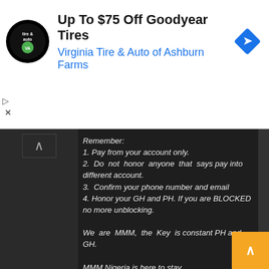[Figure (screenshot): Advertisement banner for Virginia Tire & Auto of Ashburn Farms showing logo, title 'Up To $75 Off Goodyear Tires', and a blue navigation diamond icon]
Remember:
1. Pay from your account only.
2. Do not honor anyone that says pay into different account.
3. Confirm your phone number and email
4. Honor your GH and PH. If you are BLOCKED no more unblocking.

We are MMM, the Key is constant PH and GH.

MMM Nigeria is here to stay.
LONG LIVE MMM COMMUNITY.
LONG LIVE MMM."

Some participants are already jubilating over being merged. See the